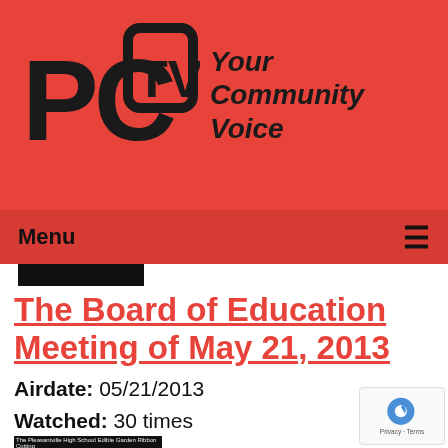[Figure (logo): PCTV logo with text 'Your Community Voice' on red background]
Menu ≡
The Board of Education Meeting of May 21, 2013
Airdate: 05/21/2013
Watched: 30 times
[Figure (screenshot): Thumbnail image for The Pleasantville High School Edible Garden Ribbon Cutting]